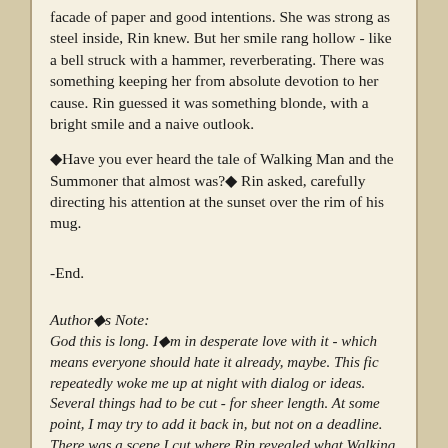facade of paper and good intentions. She was strong as steel inside, Rin knew. But her smile rang hollow - like a bell struck with a hammer, reverberating. There was something keeping her from absolute devotion to her cause. Rin guessed it was something blonde, with a bright smile and a naive outlook.
Have you ever heard the tale of Walking Man and the Summoner that almost was? Rin asked, carefully directing his attention at the sunset over the rim of his mug.
-End.
Author's Note:
God this is long. I'm in desperate love with it - which means everyone should hate it already, maybe. This fic repeatedly woke me up at night with dialog or ideas. Several things had to be cut - for sheer length. At some point, I may try to add it back in, but not on a deadline. There was a scene I cut where Rin revealed what Walking Man's...